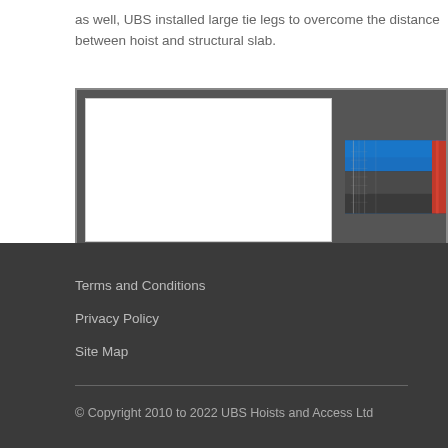as well, UBS installed large tie legs to overcome the distance between hoist and structural slab.
[Figure (photo): Slideshow widget showing a construction photo with scaffolding and red structural steel against a blue sky, with navigation dots below indicating 4 slides (first active).]
Terms and Conditions
Privacy Policy
Site Map
© Copyright 2010 to 2022 UBS Hoists and Access Ltd